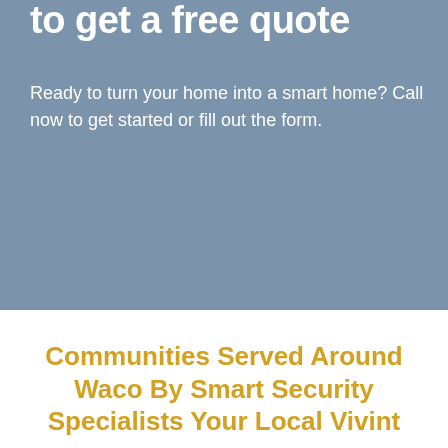to get a free quote
Ready to turn your home into a smart home? Call now to get started or fill out the form.
Communities Served Around Waco By Smart Security Specialists Your Local Vivint